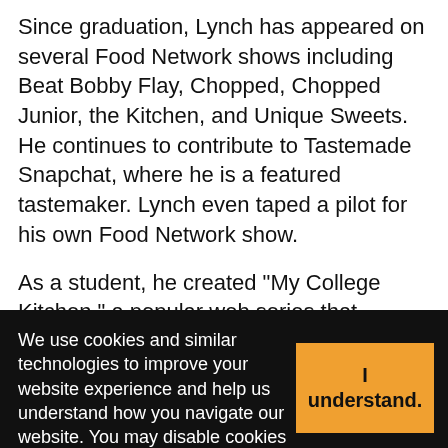Since graduation, Lynch has appeared on several Food Network shows including Beat Bobby Flay, Chopped, Chopped Junior, the Kitchen, and Unique Sweets. He continues to contribute to Tastemade Snapchat, where he is a featured tastemaker. Lynch even taped a pilot for his own Food Network show.
As a student, he created "My College Kitchen," a popular web series that provided tips for students on how to cook healthy food on a budget. In the ongoing series, Lynch demonstrates how to fold inexpensive ingredients, such as Raman noodles, into gourmet dishes and how to...
We use cookies and similar technologies to improve your website experience and help us understand how you navigate our website. You may disable cookies in your browser; however, you may not have an optimal user...
I understand.